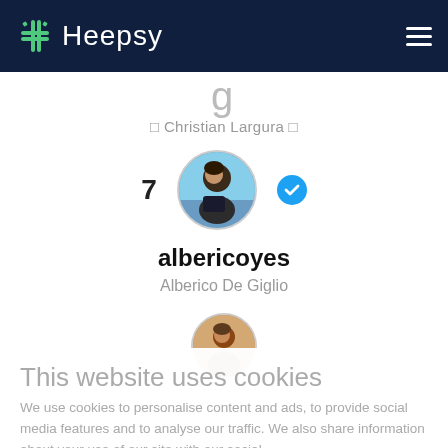[Figure (logo): Heepsy navigation bar with green hash logo and white text 'Heepsy', hamburger menu on right, dark navy background]
g
🔲 Christian Largura 🔲
[Figure (photo): Profile card showing rank number 7, circular avatar photo of a person outdoors, blue verified checkmark badge, username 'albericoyes', full name 'Alberico De Giglio', and a second partial avatar below]
This website uses cookies
We use cookies to personalise content and ads, to provide social media features and to analyse our traffic. We also share information about your use of our site with our social